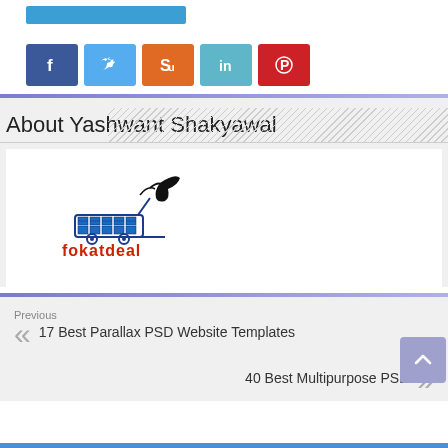[Figure (other): Blue button/bar at top]
[Figure (other): Social media share icons: Facebook (blue), Twitter (light blue), StumbleUpon (orange), LinkedIn (teal), Pinterest (red)]
About Yashwant Shakyawal
[Figure (logo): fokatdeal logo — shopping cart with solar panels graphic and red bold text 'fokatdeal']
Previous
17 Best Parallax PSD Website Templates
Next
40 Best Multipurpose PSD